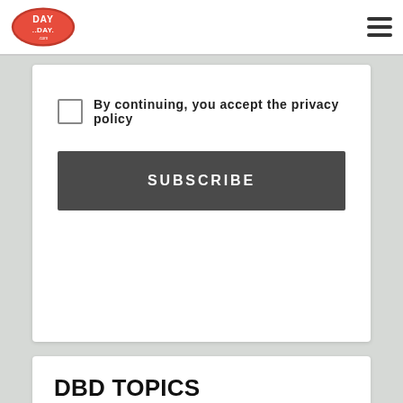Day by Day logo and navigation menu
By continuing, you accept the privacy policy
SUBSCRIBE
DBD TOPICS
2020 Campaign, Afghanistan, Americans, Appeasement, Arrogance & Elitism, Barack Obama, Children, Communication, Constitution, Corruption & Graft, Culture Wars, Deep State Traitors, Early Days, Economy, Election 2008, Entertainment, Family, Feminism, Film, Free Speech, Friends, GOP, Honor, Hypocrisy, Illegal Invaders, Incompetence, Islamic fanaticism, Issues, Love, Marriage, Marriage & Divorce, Men & Women, Military,